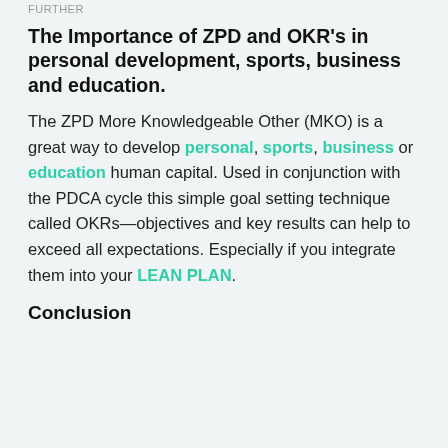FURTHER
The Importance of ZPD and OKR's in personal development, sports, business and education.
The ZPD More Knowledgeable Other (MKO) is a great way to develop personal, sports, business or education human capital. Used in conjunction with the PDCA cycle this simple goal setting technique called OKRs—objectives and key results can help to exceed all expectations. Especially if you integrate them into your LEAN PLAN.
Conclusion